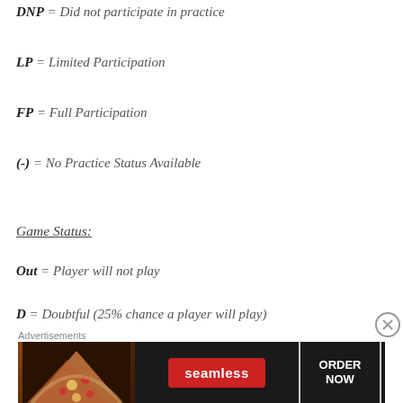DNP = Did not participate in practice
LP = Limited Participation
FP = Full Participation
(-) = No Practice Status Available
Game Status:
Out = Player will not play
D = Doubtful (25% chance a player will play)
Q = Questionable (50% chance a player will play)
[Figure (other): Seamless food delivery advertisement banner with pizza image, Seamless logo button, and ORDER NOW button]